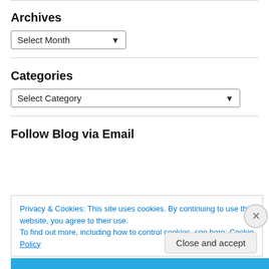Archives
Select Month
Categories
Select Category
Follow Blog via Email
Privacy & Cookies: This site uses cookies. By continuing to use this website, you agree to their use.
To find out more, including how to control cookies, see here: Cookie Policy
Close and accept